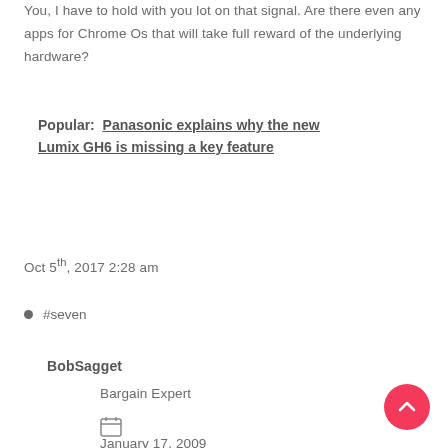You, I have to hold with you lot on that signal. Are there even any apps for Chrome Os that will take full reward of the underlying hardware?
Popular:  Panasonic explains why the new Lumix GH6 is missing a key feature
Oct 5th, 2017 2:28 am
#seven
BobSagget
Bargain Expert
January 17, 2009